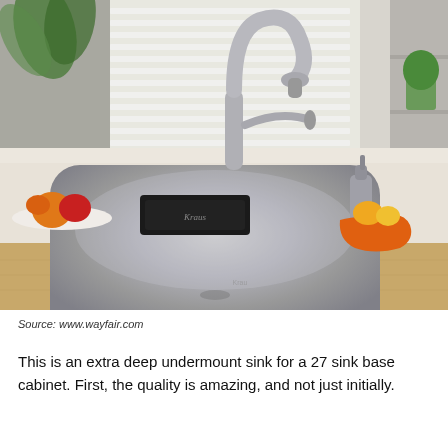[Figure (photo): A stainless steel undermount kitchen sink installed in a light-colored stone countertop with wooden cabinet below. A tall pull-down faucet is centered behind the sink, and a soap dispenser and orange bowl with fruit are on the right side of the counter. Black towels and fruits are visible on the left side.]
Source: www.wayfair.com
This is an extra deep undermount sink for a 27 sink base cabinet. First, the quality is amazing, and not just initially.